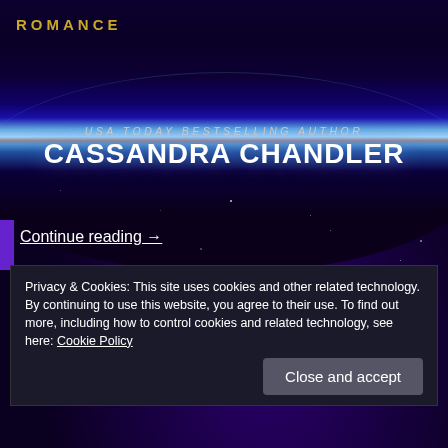ROMANCE
[Figure (illustration): Space/planet horizon background image with blue atmospheric glow, starfield, and author branding overlay showing USA TODAY BESTSELLING AUTHOR CASSANDRA CHANDLER]
Continue reading →
AUGUST 19, 2022
Cassandra Chandler
Privacy & Cookies: This site uses cookies and other related technology. By continuing to use this website, you agree to their use. To find out more, including how to control cookies and related technology, see here: Cookie Policy
Close and accept